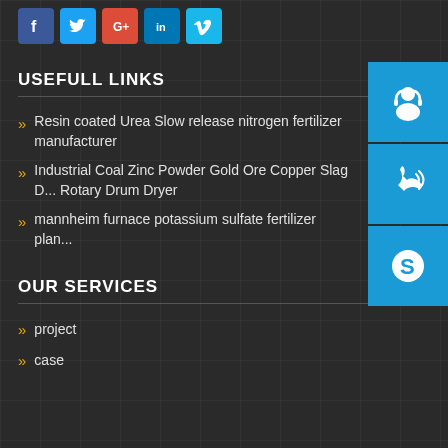[Figure (infographic): Social media icons row: Facebook (blue), Twitter (light blue), Google+ (red), LinkedIn (dark blue), Vimeo (cyan)]
USEFULL LINKS
Resin coated Urea Slow release nitrogen fertilizer manufacturer
Industrial Coal Zinc Powder Gold Ore Copper Slag D... Rotary Drum Dryer
mannheim furnace potassium sulfate fertilizer plan...
[Figure (infographic): Three contact icons on the right side: headset/support icon, phone icon, Skype icon — all on blue background]
OUR SERVICES
project
case